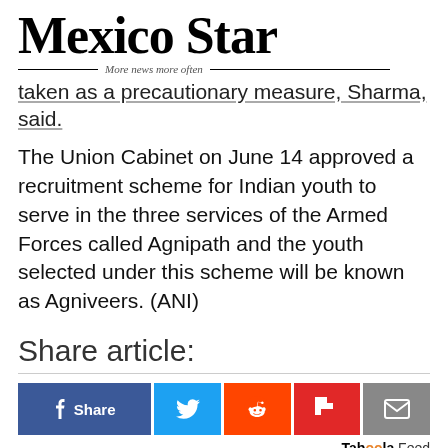Mexico Star — More news more often
taken as a precautionary measure, Sharma, said.
The Union Cabinet on June 14 approved a recruitment scheme for Indian youth to serve in the three services of the Armed Forces called Agnipath and the youth selected under this scheme will be known as Agniveers. (ANI)
Share article:
[Figure (infographic): Social share buttons: Facebook Share, Twitter, Reddit, Flipboard, Email]
Taboola Feed
[Figure (photo): Black and white photo of a person, possibly spinning a prop or tool]